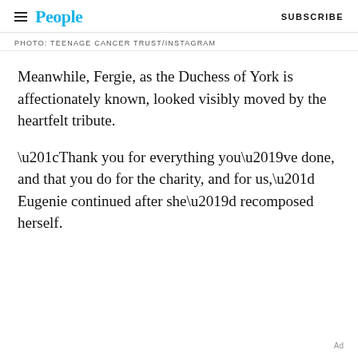People  SUBSCRIBE
PHOTO: TEENAGE CANCER TRUST/INSTAGRAM
Meanwhile, Fergie, as the Duchess of York is affectionately known, looked visibly moved by the heartfelt tribute.
“Thank you for everything you’ve done, and that you do for the charity, and for us,” Eugenie continued after she’d recomposed herself.
Ad